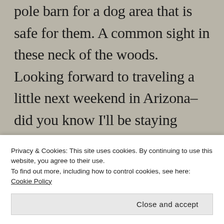pole barn for a dog area that is safe for them. A common sight in these neck of the woods. Looking forward to traveling a little next weekend in Arizona–did you know I'll be staying overnight at Marsha's place? Then on to Sedona. A very whirlwind trip but worth the effort. Have a great
Privacy & Cookies: This site uses cookies. By continuing to use this website, you agree to their use.
To find out more, including how to control cookies, see here: Cookie Policy
Close and accept